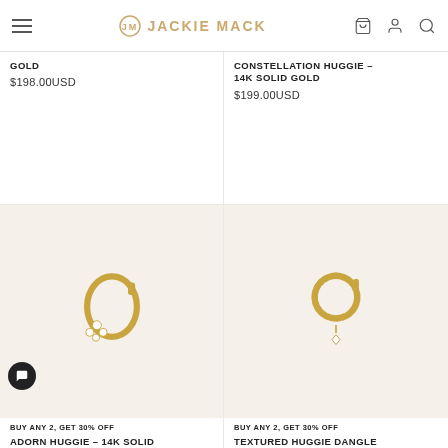JACKIE MACK
GOLD
$198.00USD
CONSTELLATION HUGGIE – 14K SOLID GOLD
$199.00USD
[Figure (photo): Gold huggie earring with crystal embellishments on a beige background, labeled ADORN HUGGIE – 14K SOLID GOLD]
BUY ANY 2, GET 30% OFF
ADORN HUGGIE – 14K SOLID
[Figure (photo): Gold textured huggie earring with a dangling crystal charm on a beige background, labeled TEXTURED HUGGIE DANGLE]
BUY ANY 2, GET 30% OFF
TEXTURED HUGGIE DANGLE